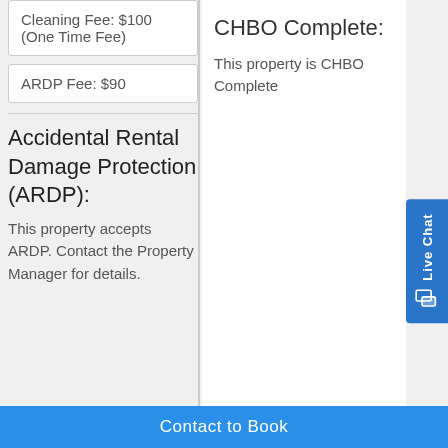Cleaning Fee: $100 (One Time Fee)
ARDP Fee: $90
Accidental Rental Damage Protection (ARDP):
This property accepts ARDP. Contact the Property Manager for details.
CHBO Complete:
This property is CHBO Complete
Contact to Book